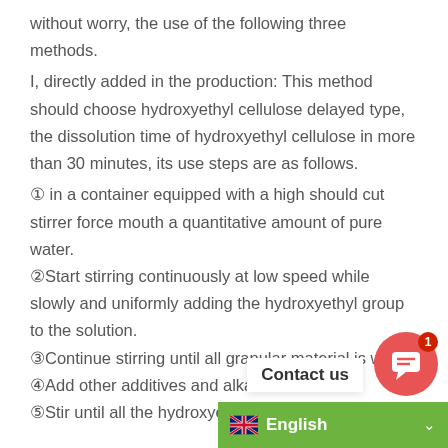without worry, the use of the following three methods.
I, directly added in the production: This method should choose hydroxyethyl cellulose delayed type, the dissolution time of hydroxyethyl cellulose in more than 30 minutes, its use steps are as follows.
① in a container equipped with a high should cut stirrer force mouth a quantitative amount of pure water.
②Start stirring continuously at low speed while slowly and uniformly adding the hydroxyethyl group to the solution.
③Continue stirring until all granular material is wet
④Add other additives and alkal…
⑤Stir until all the hydroxyethyl…